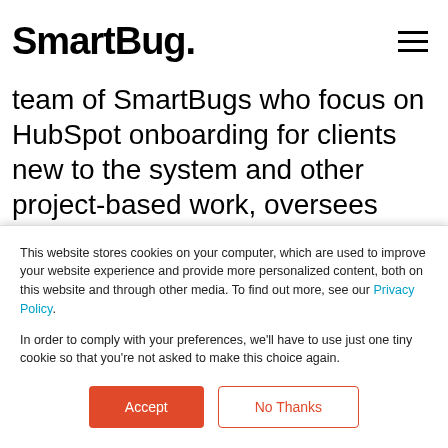SmartBug.
team of SmartBugs who focus on HubSpot onboarding for clients new to the system and other project-based work, oversees new employee onboarding, and rolls out new process and procedures within the Client Services department. She fell in love with marketing at her first job at a technology company specializing in credit evaluation software. Her background includes more than 20 years of
This website stores cookies on your computer, which are used to improve your website experience and provide more personalized content, both on this website and through other media. To find out more, see our Privacy Policy.
In order to comply with your preferences, we'll have to use just one tiny cookie so that you're not asked to make this choice again.